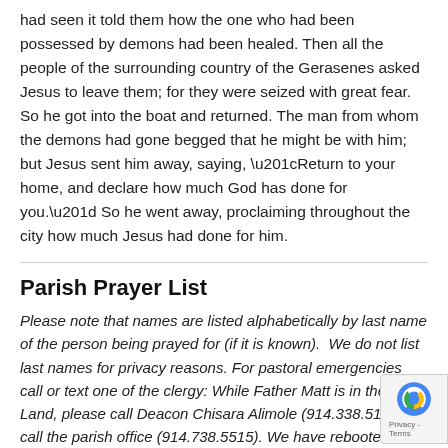had seen it told them how the one who had been possessed by demons had been healed. Then all the people of the surrounding country of the Gerasenes asked Jesus to leave them; for they were seized with great fear. So he got into the boat and returned. The man from whom the demons had gone begged that he might be with him; but Jesus sent him away, saying, “Return to your home, and declare how much God has done for you.” So he went away, proclaiming throughout the city how much Jesus had done for him.
Parish Prayer List
Please note that names are listed alphabetically by last name of the person being prayed for (if it is known). We do not list last names for privacy reasons. For pastoral emergencies call or text one of the clergy: While Father Matt is in the Holy Land, please call Deacon Chisara Alimole (914.338.5194), or call the parish office (914.738.5515). We have rebooted the prayer list, If you have any updates (birthdays, prayers additions, etc., please let us know.) Please submit names you wish to be included by Tuesday morning, to Marie at: marie@christchurchpelham.org